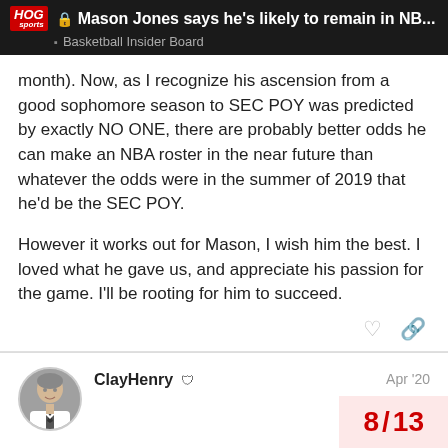Mason Jones says he's likely to remain in NB... | Basketball Insider Board
month). Now, as I recognize his ascension from a good sophomore season to SEC POY was predicted by exactly NO ONE, there are probably better odds he can make an NBA roster in the near future than whatever the odds were in the summer of 2019 that he'd be the SEC POY.

However it works out for Mason, I wish him the best. I loved what he gave us, and appreciate his passion for the game. I'll be rooting for him to succeed.
ClayHenry  Apr '20

Mason gave Arkansas two good years. I wish him well.
8 / 13